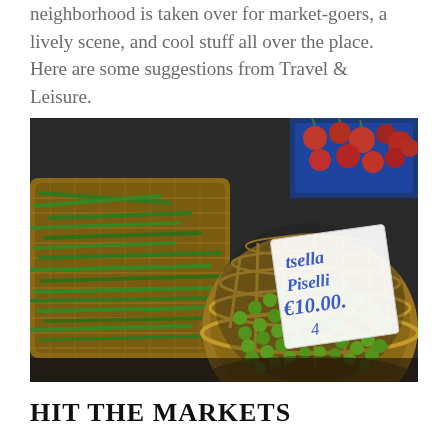neighborhood is taken over for market-goers, a lively scene, and cool stuff all over the place. Here are some suggestions from Travel & Leisure.
[Figure (photo): Baskets of fresh vegetables at a market: green beans in a rectangular wicker basket on the left, and green peas in a round wicker basket on the right with a handwritten price tag. Red produce visible in a blue crate in the background.]
HIT THE MARKETS